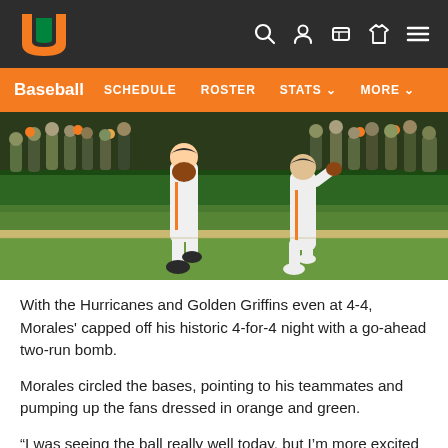University of Miami Hurricanes Baseball
[Figure (screenshot): University of Miami athletics website header with orange U logo on dark background, navigation icons (search, user, ticket, jersey, menu)]
[Figure (photo): Two Miami Hurricanes baseball players in white uniforms walking on the field, with teammates and fans watching from the dugout/fence area in the background]
With the Hurricanes and Golden Griffins even at 4-4, Morales' capped off his historic 4-for-4 night with a go-ahead two-run bomb.
Morales circled the bases, pointing to his teammates and pumping up the fans dressed in orange and green.
“I was seeing the ball really well today, but I’m more excited about getting the win tonight,” Morales said. “I knew I had...